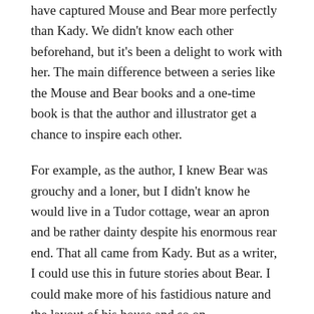have captured Mouse and Bear more perfectly than Kady. We didn't know each other beforehand, but it's been a delight to work with her. The main difference between a series like the Mouse and Bear books and a one-time book is that the author and illustrator get a chance to inspire each other.
For example, as the author, I knew Bear was grouchy and a loner, but I didn't know he would live in a Tudor cottage, wear an apron and be rather dainty despite his enormous rear end. That all came from Kady. But as a writer, I could use this in future stories about Bear. I could make more of his fastidious nature and the layout of his house and so on.
I've had two moments of absolute delight as an author when it came to my illustrator. The first was with